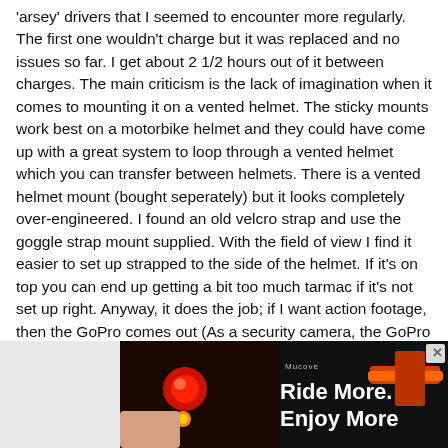'arsey' drivers that I seemed to encounter more regularly. The first one wouldn't charge but it was replaced and no issues so far. I get about 2 1/2 hours out of it between charges. The main criticism is the lack of imagination when it comes to mounting it on a vented helmet. The sticky mounts work best on a motorbike helmet and they could have come up with a great system to loop through a vented helmet which you can transfer between helmets. There is a vented helmet mount (bought seperately) but it looks completely over-engineered. I found an old velcro strap and use the goggle strap mount supplied. With the field of view I find it easier to set up strapped to the side of the helmet. If it's on top you can end up getting a bit too much tarmac if it's not set up right. Anyway, it does the job; if I want action footage, then the GoPro comes out (As a security camera, the GoPro only lasts an hour and is best bar mounted as it just doesn't look right on top a
[Figure (photo): Advertisement banner for 'Ride More. Enjoy More.' showing a red bicycle light on the left and what appears to be a cycling accessory on the right, dark background with white bold text.]